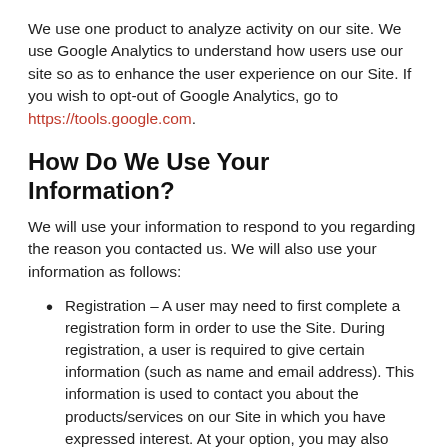We use one product to analyze activity on our site. We use Google Analytics to understand how users use our site so as to enhance the user experience on our Site. If you wish to opt-out of Google Analytics, go to https://tools.google.com.
How Do We Use Your Information?
We will use your information to respond to you regarding the reason you contacted us. We will also use your information as follows:
Registration – A user may need to first complete a registration form in order to use the Site. During registration, a user is required to give certain information (such as name and email address). This information is used to contact you about the products/services on our Site in which you have expressed interest. At your option, you may also provide demographic information (such as gender or